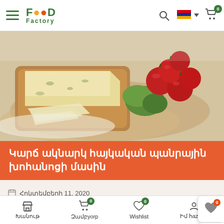Food Factory — navigation bar with hamburger menu, logo, search, Armenian flag, cart (0)
[Figure (photo): Food photography showing sliced Armenian cheese with herbs on a wooden cutting board, cherry tomatoes, fresh greens, and lavash flatbread on a lace tablecloth]
Կարճ ակնարկ հայկական պանրային խոհանոցի մասին
Հոկտեմբերի 11, 2020
Հայաստանը համարվում է մի շարք հրաշալի պանիրների հայրենիքը։ Այն հայկական խոհանոցի անկյունáuml…
Խանութ | Զամբյուռ 0 | Wishlist 0 | Իմ հաշիվը